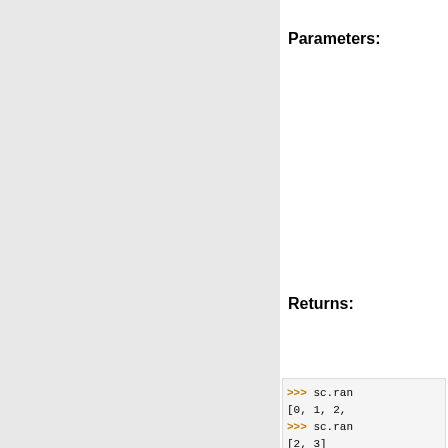Parameters:
Returns:
>>> sc.ran
[0, 1, 2,
>>> sc.ran
[2, 3]
>>> sc.ran
[1, 3, 5]
runJob(rdd, parti
Executes the of partitions,
If 'partitions' i
>>> myRDD